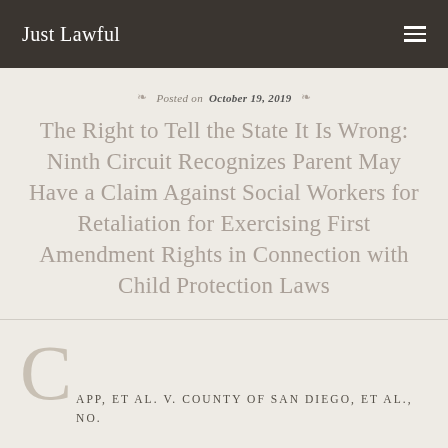Just Lawful
Posted on October 19, 2019
The Right to Tell the State It Is Wrong: Ninth Circuit Recognizes Parent May Have a Claim Against Social Workers for Retaliation for Exercising First Amendment Rights in Connection with Child Protection Laws
CAPP, ET AL. V. COUNTY OF SAN DIEGO, ET AL., NO.